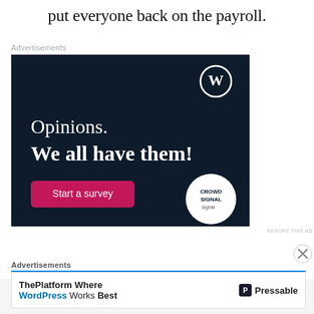put everyone back on the payroll.
Advertisements
[Figure (screenshot): Advertisement banner with dark navy background featuring WordPress (W) logo in top right, text 'Opinions. We all have them!' in white serif font, a pink 'Start a survey' button, and a Crowdsignal logo in a white circle at bottom right.]
REPORT THIS AD
Advertisements
[Figure (screenshot): Advertisement for Pressable hosting: 'ThePlatform Where WordPress Works Best' with Pressable logo on right side.]